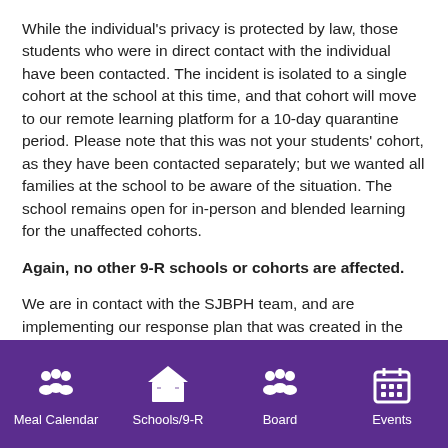While the individual's privacy is protected by law, those students who were in direct contact with the individual have been contacted. The incident is isolated to a single cohort at the school at this time, and that cohort will move to our remote learning platform for a 10-day quarantine period. Please note that this was not your students' cohort, as they have been contacted separately; but we wanted all families at the school to be aware of the situation. The school remains open for in-person and blended learning for the unaffected cohorts.
Again, no other 9-R schools or cohorts are affected.
We are in contact with the SJBPH team, and are implementing our response plan that was created in the event of this scenario.
The 3 W's of 9-R schools were created to minimize the spread of COVID-19 and it is critically important all students and staff follow the guidelines:
Meal Calendar | Schools/9-R | Board | Events